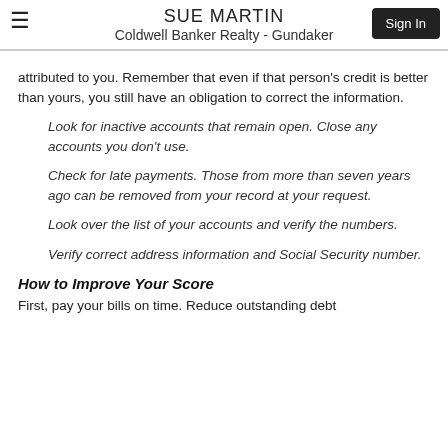SUE MARTIN
Coldwell Banker Realty - Gundaker
attributed to you. Remember that even if that person's credit is better than yours, you still have an obligation to correct the information.
Look for inactive accounts that remain open. Close any accounts you don't use.
Check for late payments. Those from more than seven years ago can be removed from your record at your request.
Look over the list of your accounts and verify the numbers.
Verify correct address information and Social Security number.
How to Improve Your Score
First, pay your bills on time. Reduce outstanding debt